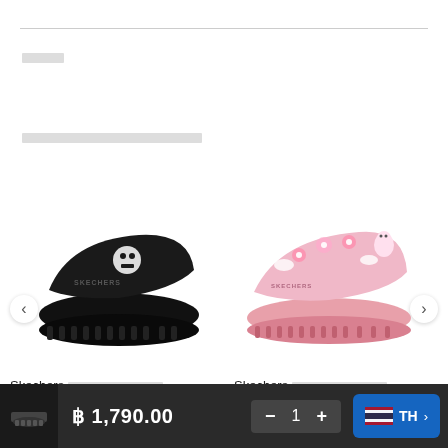□□□□
□□□□□□□□□□□□□□□□□
[Figure (photo): Black Skechers slide sandal with One Piece skull logo on the strap]
[Figure (photo): Pink Skechers slide sandal with cartoon character and floral pattern on the strap]
Skechers □□□□□□□□□□□
Skechers □□□□□□□□□□□
฿ 1,790.00
1
TH